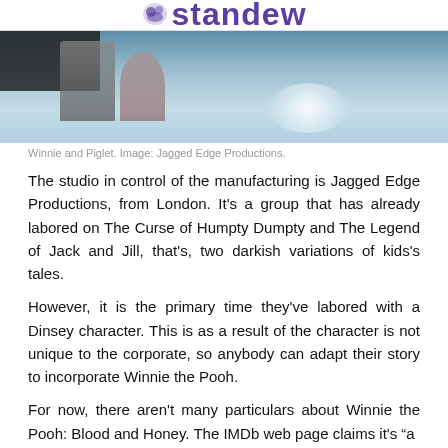standew
[Figure (photo): Film still showing Winnie and Piglet characters in a dark, horror-style scene with blue-toned water/pool background and glowing light effect.]
Winnie and Piglet. Image: Jagged Edge Productions.
The studio in control of the manufacturing is Jagged Edge Productions, from London. It's a group that has already labored on The Curse of Humpty Dumpty and The Legend of Jack and Jill, that's, two darkish variations of kids's tales.
However, it is the primary time they've labored with a Dinsey character. This is as a result of the character is not unique to the corporate, so anybody can adapt their story to incorporate Winnie the Pooh.
For now, there aren't many particulars about Winnie the Pooh: Blood and Honey. The IMDb web page claims it's "a